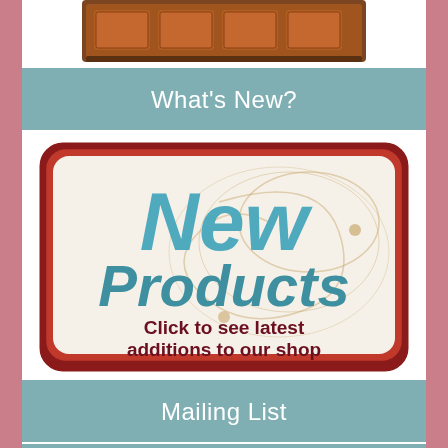[Figure (illustration): Chocolate bar image at the top of the page, showing a brown chocolate bar with rectangular segments]
What's New?
[Figure (illustration): Decorative sign with teal text reading 'New Products' and dark red text 'Click to see latest additions to our shop', with swirling ornamental design on a cream background with dark red border]
Mailing List